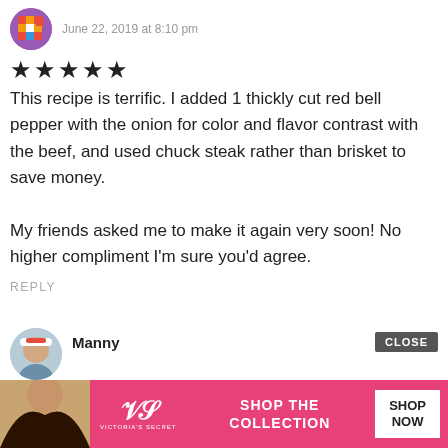June 22, 2019 at 8:10 pm
★★★★★
This recipe is terrific. I added 1 thickly cut red bell pepper with the onion for color and flavor contrast with the beef, and used chuck steak rather than brisket to save money.

My friends asked me to make it again very soon! No higher compliment I'm sure you'd agree.
REPLY
Manny
[Figure (screenshot): Victoria's Secret advertisement banner at the bottom of the page showing a model, VS logo, 'SHOP THE COLLECTION' text, and 'SHOP NOW' button with a CLOSE button overlay.]